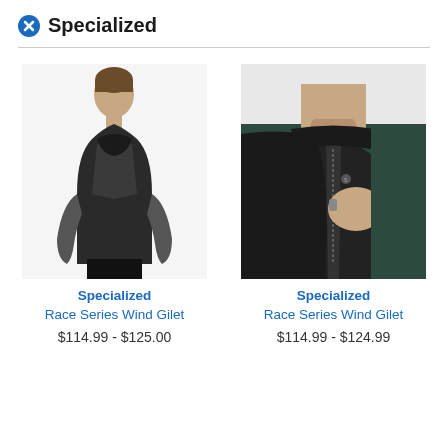Specialized
[Figure (photo): Woman wearing a black Specialized Race Series Wind Gilet cycling vest over long-sleeve shirt, standing against white background]
Specialized
Race Series Wind Gilet
$114.99 - $125.00
[Figure (photo): Close-up of a man zipping up a dark green and black Specialized Race Series Wind Gilet cycling vest]
Specialized
Race Series Wind Gilet
$114.99 - $124.99